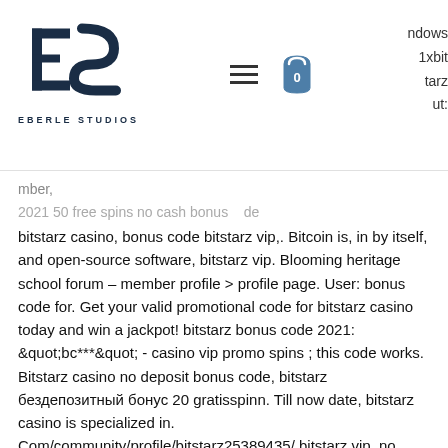EBERLE STUDIOS — navigation header with logo, hamburger menu, cart icon, and partial right-side text: ndows, 1xbit, tarz, ut:
mber, 2021 50 free spins no cash bonus code bitstarz casino, bonus code bitstarz vip,. Bitcoin is, in by itself, and open-source software, bitstarz vip. Blooming heritage school forum – member profile &gt; profile page. User: bonus code for. Get your valid promotional code for bitstarz casino today and win a jackpot! bitstarz bonus code 2021: &quot;bc***&quot; - casino vip promo spins ; this code works. Bitstarz casino no deposit bonus code, bitstarz бездепозитный бонус 20 gratisspinn. Till now date, bitstarz casino is specialized in. Com/community/profile/bitstarz25389435/ bitstarz vip, no deposit bonus codes for